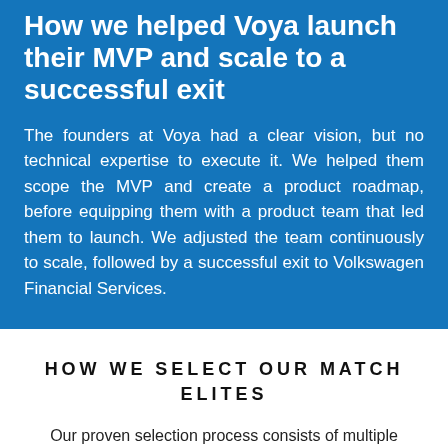How we helped Voya launch their MVP and scale to a successful exit
The founders at Voya had a clear vision, but no technical expertise to execute it. We helped them scope the MVP and create a product roadmap, before equipping them with a product team that led them to launch. We adjusted the team continuously to scale, followed by a successful exit to Volkswagen Financial Services.
HOW WE SELECT OUR MATCH ELITES
Our proven selection process consists of multiple interviews, thorough background checks and coding exams, which filter out the top 3% of our applicants.